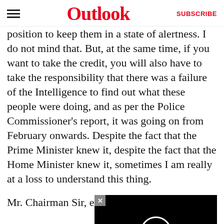Outlook | SUBSCRIBE
position to keep them in a state of alertness. I do not mind that. But, at the same time, if you want to take the credit, you will also have to take the responsibility that there was a failure of the Intelligence to find out what these people were doing, and as per the Police Commissioner's report, it was going on from February onwards. Despite the fact that the Prime Minister knew it, despite the fact that the Home Minister knew it, sometimes I am really at a loss to understand this thing.
Mr. Chairman Sir, everyb… except a few fools like us… the Government source, … anything. We are told by … important political leader… she informed the appropriate quarter that…